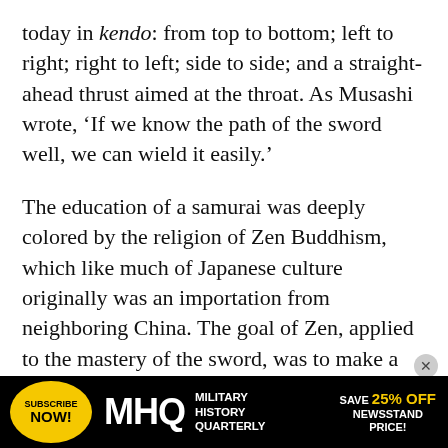today in kendo: from top to bottom; left to right; right to left; side to side; and a straight-ahead thrust aimed at the throat. As Musashi wrote, ‘If we know the path of the sword well, we can wield it easily.’
The education of a samurai was deeply colored by the religion of Zen Buddhism, which like much of Japanese culture originally was an importation from neighboring China. The goal of Zen, applied to the mastery of the sword, was to make a samurai’s thought and action instantaneous, at one and the same time. In The Zen Way to The Martial Arts, Zen master Taisen Deshimaru told the story of a samurai who had just made a pilgrimage to the shrine of Hachiman, the Japanese god of war, in
[Figure (infographic): Advertisement banner for Military History Quarterly (MHQ). Black background with yellow 'Subscribe Now!' circular badge on left, MHQ logo in white in center, text 'Military History Quarterly' to the right of logo, and 'Save 25% Off Newsstand Price!' in yellow on the right.]